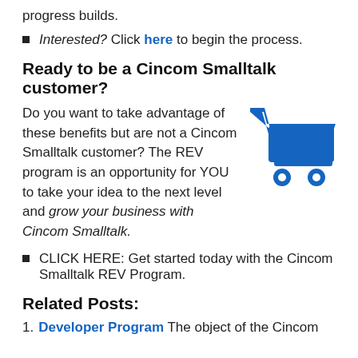progress builds.
Interested? Click here to begin the process.
Ready to be a Cincom Smalltalk customer?
Do you want to take advantage of these benefits but are not a Cincom Smalltalk customer? The REV program is an opportunity for YOU to take your idea to the next level and grow your business with Cincom Smalltalk.
[Figure (illustration): Blue shopping cart icon]
CLICK HERE: Get started today with the Cincom Smalltalk REV Program.
Related Posts:
Developer Program The object of the Cincom